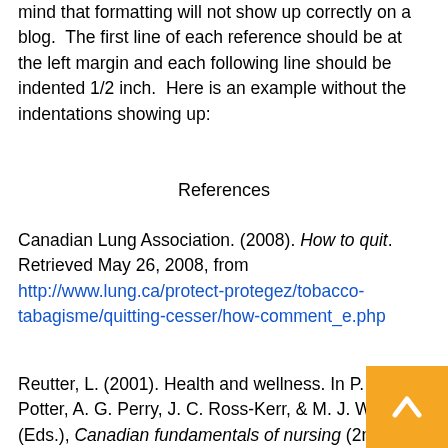mind that formatting will not show up correctly on a blog.  The first line of each reference should be at the left margin and each following line should be indented 1/2 inch.  Here is an example without the indentations showing up:
References
Canadian Lung Association. (2008). How to quit. Retrieved May 26, 2008, from http://www.lung.ca/protect-protegez/tobacco-tabagisme/quitting-cesser/how-comment_e.php
Reutter, L. (2001). Health and wellness. In P. A. Potter, A. G. Perry, J. C. Ross-Kerr, & M. J. Wood (Eds.), Canadian fundamentals of nursing (2nd ed.) (pp. 2-30). Toronto